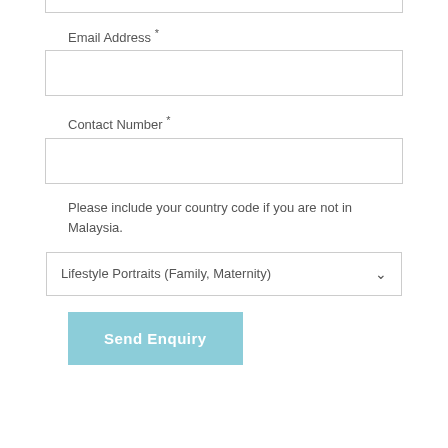Email Address *
Contact Number *
Please include your country code if you are not in Malaysia.
Lifestyle Portraits (Family, Maternity)
Send Enquiry